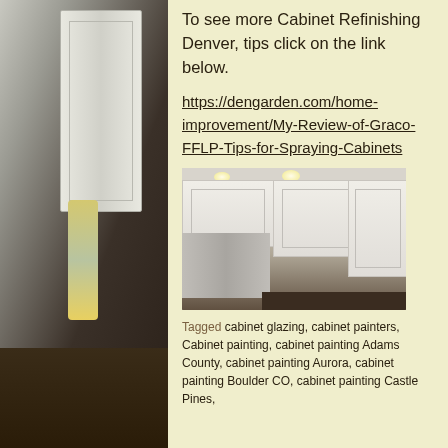[Figure (photo): Left side: interior photo of a hallway/kitchen with white cabinet doors, a colorful hanging towel, and dark hardwood floors]
To see more Cabinet Refinishing Denver, tips click on the link below.
https://dengarden.com/home-improvement/My-Review-of-Graco-FFLP-Tips-for-Spraying-Cabinets
[Figure (photo): Interior kitchen photo showing freshly painted white upper cabinets, a stainless steel refrigerator on the left, and dark countertop]
Tagged cabinet glazing, cabinet painters, Cabinet painting, cabinet painting Adams County, cabinet painting Aurora, cabinet painting Boulder CO, cabinet painting Castle Pines,